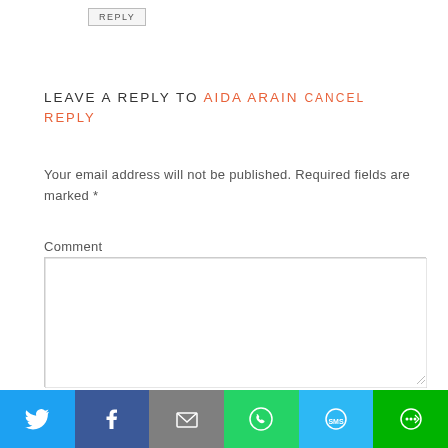REPLY
LEAVE A REPLY TO AIDA ARAIN CANCEL REPLY
Your email address will not be published. Required fields are marked *
Comment
[Figure (screenshot): Comment text area input box]
[Figure (infographic): Social sharing bar with Twitter, Facebook, Email, WhatsApp, SMS, and More buttons]